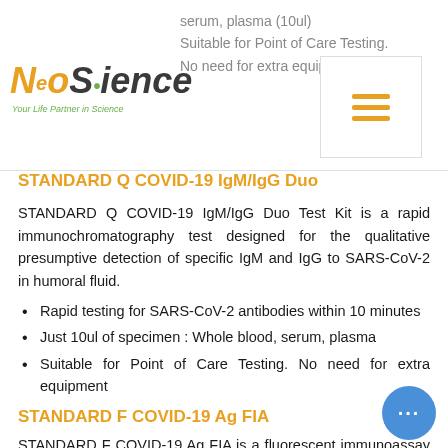serum, plasma (10ul)
Suitable for Point of Care Testing.
No need for extra equipment
[Figure (logo): NeoScience logo with tagline 'Your Life Partner in Science']
STANDARD Q COVID-19 IgM/IgG Duo
STANDARD Q COVID-19 IgM/IgG Duo Test Kit is a rapid immunochromatography test designed for the qualitative presumptive detection of specific IgM and IgG to SARS-CoV-2 in humoral fluid.
Rapid testing for SARS-CoV-2 antibodies within 10 minutes
Just 10ul of specimen : Whole blood, serum, plasma
Suitable for Point of Care Testing. No need for extra equipment
STANDARD F COVID-19 Ag FIA
STANDARD F COVID-19 Ag FIA is a fluorescent immunoassay to detect